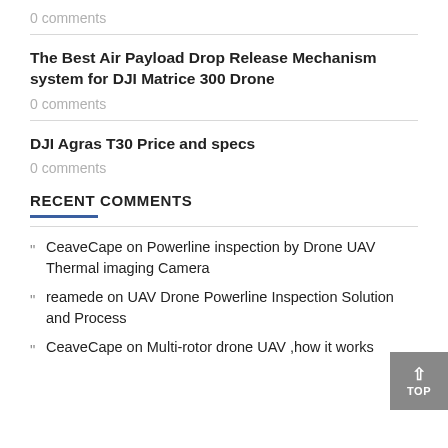0 comments
The Best Air Payload Drop Release Mechanism system for DJI Matrice 300 Drone
0 comments
DJI Agras T30 Price and specs
0 comments
RECENT COMMENTS
CeaveCape on Powerline inspection by Drone UAV Thermal imaging Camera
reamede on UAV Drone Powerline Inspection Solution and Process
CeaveCape on Multi-rotor drone UAV ,how it works